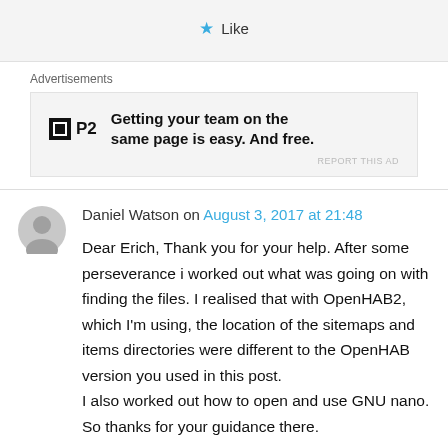[Figure (other): Like button with blue star icon]
Advertisements
[Figure (other): P2 advertisement: Getting your team on the same page is easy. And free.]
Daniel Watson on August 3, 2017 at 21:48
Dear Erich, Thank you for your help. After some perseverance i worked out what was going on with finding the files. I realised that with OpenHAB2, which I'm using, the location of the sitemaps and items directories were different to the OpenHAB version you used in this post. I also worked out how to open and use GNU nano. So thanks for your guidance there.